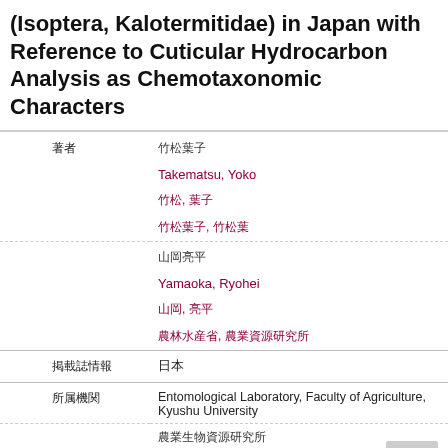(Isoptera, Kalotermitidae) in Japan with Reference to Cuticular Hydrocarbon Analysis as Chemotaxonomic Characters
| Label | Value |
| --- | --- |
| 著者 | 竹松葉子 / Takematsu, Yoko / 竹松, 葉子 / 竹松葉子, 竹松葉子 |
|  | 山岡亮平 / Yamaoka, Ryohei / 山岡, 亮平 / 農林水産省, 農業資源研究所 |
| 掲載誌情報 | 日本 |
| 所属機関 | Entomological Laboratory, Faculty of Agriculture, Kyushu University |
|  | 農業生物資源研究所 |
|  | Hikosan Biological Laboratory, Faculty of Agriculture, Kyushu University |